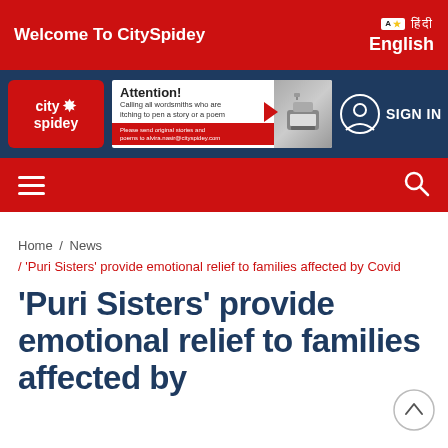Welcome To CitySpidey
[Figure (logo): CitySpidey logo - red box with city spidey text and spider icon]
[Figure (infographic): Advertisement banner: Attention! Calling all wordsmiths who are itching to pen a story or a poem. Please send original stories and poems to alvira.nasir@cityspidey.com]
SIGN IN
Home / News / 'Puri Sisters' provide emotional relief to families affected by Covid
'Puri Sisters' provide emotional relief to families affected by